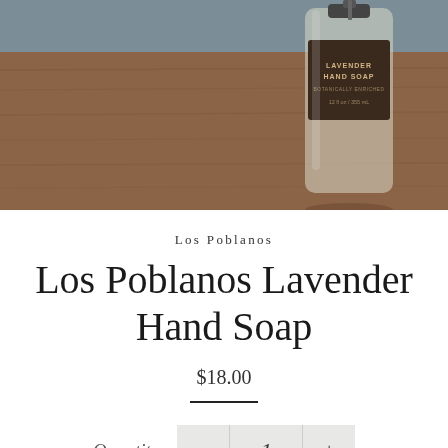[Figure (photo): A glass bottle of Los Poblanos Lavender Hand Soap sitting on a wooden surface with a grey-blue background. The bottle has a dark label reading 'Lavender Hand Soap'.]
Los Poblanos
Los Poblanos Lavender Hand Soap
$18.00
Quantity  1